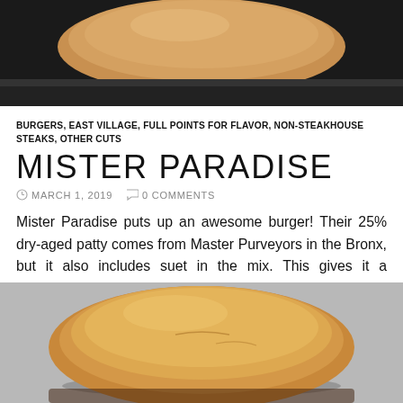[Figure (photo): Close-up photo of a burger bun on a dark pan/skillet, top portion visible]
BURGERS, EAST VILLAGE, FULL POINTS FOR FLAVOR, NON-STEAKHOUSE STEAKS, OTHER CUTS
MISTER PARADISE
MARCH 1, 2019   0 COMMENTS
Mister Paradise puts up an awesome burger! Their 25% dry-aged patty comes from Master Purveyors in the Bronx, but it also includes suet in the mix. This gives it a characteristic and deep, robust beefiness.
[Figure (photo): Photo of a burger with a golden-brown bun on a gray background, bottom portion of the page]